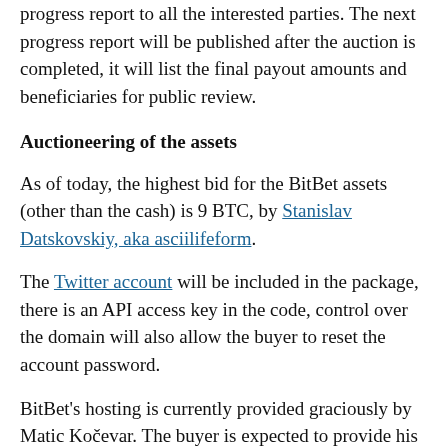progress report to all the interested parties. The next progress report will be published after the auction is completed, it will list the final payout amounts and beneficiaries for public review.
Auctioneering of the assets
As of today, the highest bid for the BitBet assets (other than the cash) is 9 BTC, by Stanislav Datskovskiy, aka asciilifeform.
The Twitter account will be included in the package, there is an API access key in the code, control over the domain will also allow the buyer to reset the account password.
BitBet's hosting is currently provided graciously by Matic Kočevar. The buyer is expected to provide his own hosting setup. I will setup and provide the necessary infrastructure in the interim to keep BitBet online, should Matic Kočevar